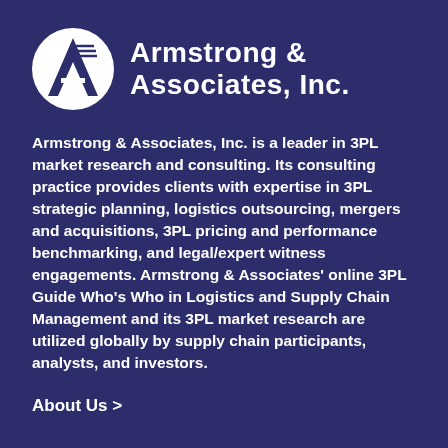[Figure (logo): Armstrong & Associates, Inc. logo: white circle with stylized A and horizontal lines, beside bold white text 'Armstrong & Associates, Inc.']
Armstrong & Associates, Inc. is a leader in 3PL market research and consulting. Its consulting practice provides clients with expertise in 3PL strategic planning, logistics outsourcing, mergers and acquisitions, 3PL pricing and performance benchmarking, and legal/expert witness engagements. Armstrong & Associates' online 3PL Guide Who's Who in Logistics and Supply Chain Management and its 3PL market research are utilized globally by supply chain participants, analysts, and investors.
About Us >